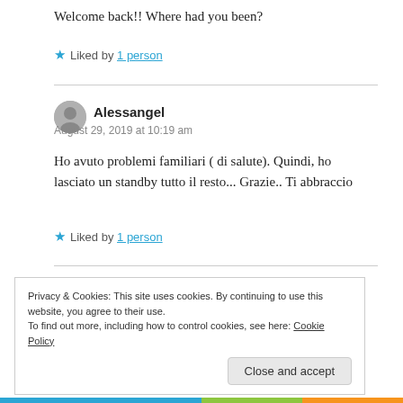Welcome back!! Where had you been?
★ Liked by 1 person
Alessangel
August 29, 2019 at 10:19 am
Ho avuto problemi familiari ( di salute). Quindi, ho lasciato un standby tutto il resto... Grazie.. Ti abbraccio
★ Liked by 1 person
Privacy & Cookies: This site uses cookies. By continuing to use this website, you agree to their use. To find out more, including how to control cookies, see here: Cookie Policy
Close and accept